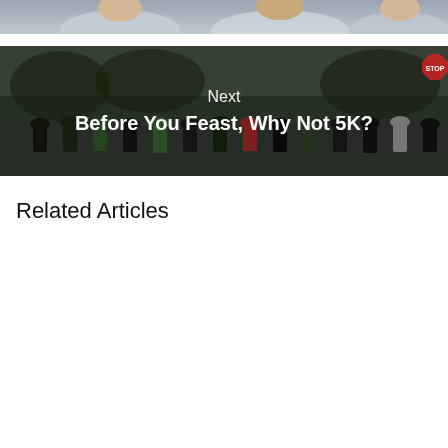[Figure (photo): Top portion of a photo showing people, partially cropped at the top of the page]
[Figure (photo): Banner image showing a crowd of runners at a 5K race with overlay text 'Next' and 'Before You Feast, Why Not 5K?']
Related Articles